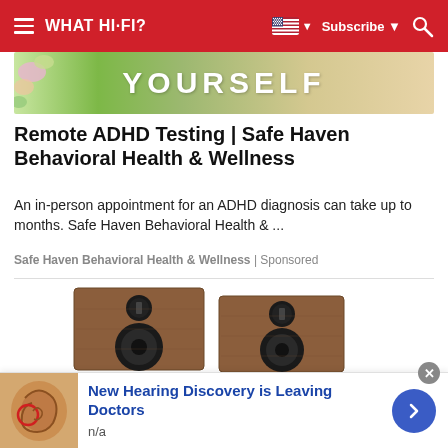WHAT HI-FI?
[Figure (photo): Advertisement banner image with green floral background and large white bold text 'YOURSELF']
Remote ADHD Testing | Safe Haven Behavioral Health & Wellness
An in-person appointment for an ADHD diagnosis can take up to months. Safe Haven Behavioral Health & ...
Safe Haven Behavioral Health & Wellness | Sponsored
[Figure (photo): Two bookshelf speakers with walnut wood finish and black driver cones, side by side]
New Hearing Discovery is Leaving Doctors
n/a